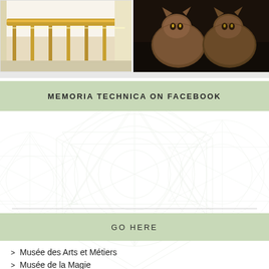[Figure (photo): Two photos side by side at the top: left shows a golden staircase railing/banister in warm yellow tones; right shows two fluffy cats (Maine Coon or similar) sitting on a dark surface]
MEMORIA TECHNICA ON FACEBOOK
GO HERE
Musée des Arts et Métiers
Musée de la Magie
Museum of Jurassic Technology
Museum of Museums
Museum Speelklok
The Magic Castle